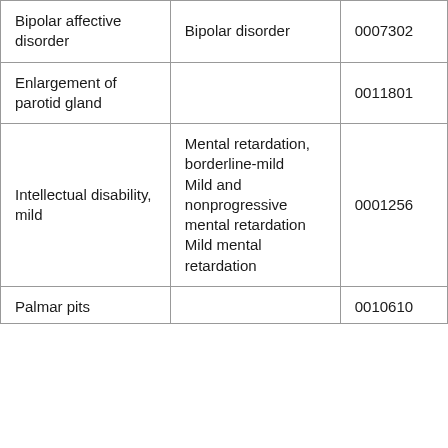| Bipolar affective disorder | Bipolar disorder | 0007302 |
| Enlargement of parotid gland |  | 0011801 |
| Intellectual disability, mild | Mental retardation, borderline-mild
Mild and nonprogressive mental retardation
Mild mental retardation | 0001256 |
| Palmar pits |  | 0010610 |